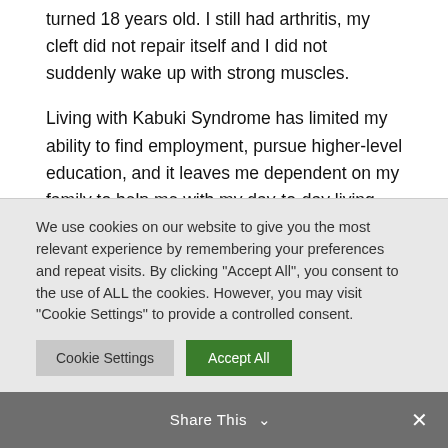turned 18 years old. I still had arthritis, my cleft did not repair itself and I did not suddenly wake up with strong muscles.
Living with Kabuki Syndrome has limited my ability to find employment, pursue higher-level education, and it leaves me dependent on my family to help me with my day-to-day living.
I appreciate the PWD benefits I receive every
We use cookies on our website to give you the most relevant experience by remembering your preferences and repeat visits. By clicking "Accept All", you consent to the use of ALL the cookies. However, you may visit "Cookie Settings" to provide a controlled consent.
Cookie Settings | Accept All
Share This ∨ ✕